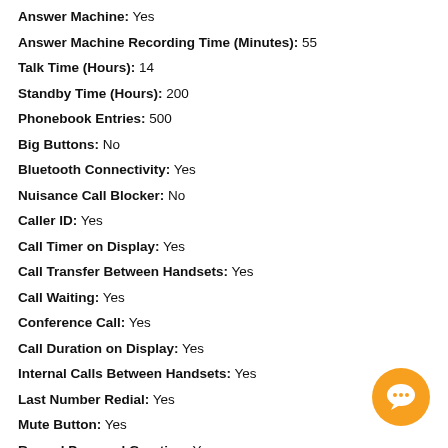Answer Machine: Yes
Answer Machine Recording Time (Minutes): 55
Talk Time (Hours): 14
Standby Time (Hours): 200
Phonebook Entries: 500
Big Buttons: No
Bluetooth Connectivity: Yes
Nuisance Call Blocker: No
Caller ID: Yes
Call Timer on Display: Yes
Call Transfer Between Handsets: Yes
Call Waiting: Yes
Conference Call: Yes
Call Duration on Display: Yes
Internal Calls Between Handsets: Yes
Last Number Redial: Yes
Mute Button: Yes
Record Personal Greeting: Yes
[Figure (illustration): Orange circular chat button icon with speech bubble]